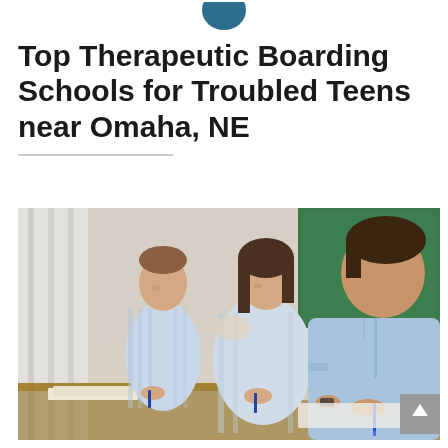[Figure (logo): Dark teal/blue circular logo partially visible at top center of page]
Top Therapeutic Boarding Schools for Troubled Teens near Omaha, NE
[Figure (photo): Three teenagers sitting at desks in a classroom, writing with pens/pencils. A green chalkboard is visible in the background. The foreground shows a young man in a light blue shirt writing, with two other students behind him also writing.]